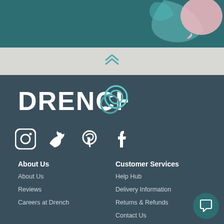[Figure (illustration): Teal background with decorative teal and pink speech bubble / teardrop shapes in upper right]
[Figure (illustration): Light gray scroll-to-top bar with double chevron up arrow]
[Figure (logo): Drench logo in white bold text with teal circle/ring graphic element]
[Figure (illustration): Social media icons: Instagram, Twitter, Pinterest, Facebook in white]
About Us
About Us
Reviews
Careers at Drench
Customer Services
Help Hub
Delivery Information
Returns & Refunds
Contact Us